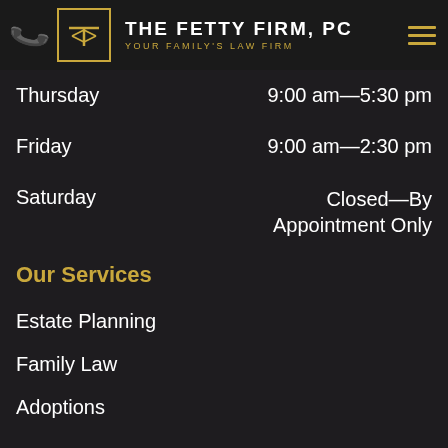THE FETTY FIRM, PC — YOUR FAMILY'S LAW FIRM
| Day | Hours |
| --- | --- |
| Thursday | 9:00 am—5:30 pm |
| Friday | 9:00 am—2:30 pm |
| Saturday | Closed—By Appointment Only |
Our Services
Estate Planning
Family Law
Adoptions